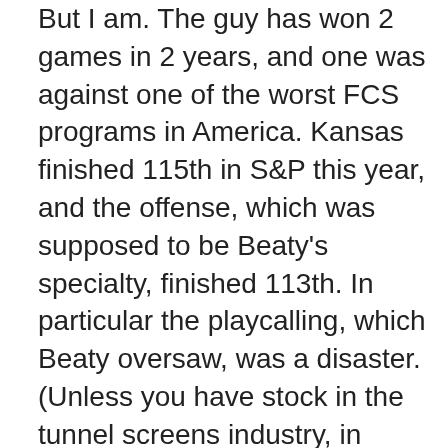But I am. The guy has won 2 games in 2 years, and one was against one of the worst FCS programs in America. Kansas finished 115th in S&P this year, and the offense, which was supposed to be Beaty's specialty, finished 113th. In particular the playcalling, which Beaty oversaw, was a disaster. (Unless you have stock in the tunnel screens industry, in which case you are now smoking cigars made of money after watching Kansas run 5,000 tunnel screens and sideline passes for a total of 3 yards.) Beaty also oversaw the punt return unit for part of the season, and hey they only finished last in the country in punt return yards and had a punt returner who couldn't catch the ball so that's not bad. Gold star.
That's to say nothing of his insistence on punting on fourth and short from midfield or better. Granted there